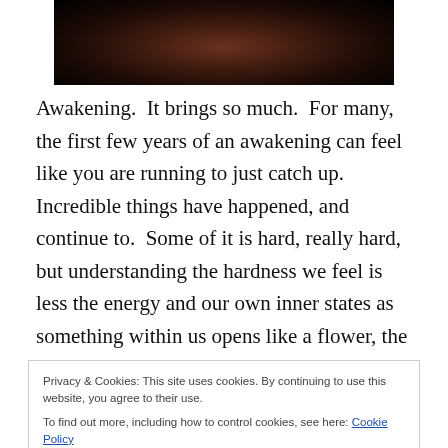[Figure (photo): Dark image, partially cropped at top, showing a dimly lit face or figure against a black background with warm reddish-brown tones in the center.]
Awakening.  It brings so much.  For many, the first few years of an awakening can feel like you are running to just catch up.  Incredible things have happened, and continue to.  Some of it is hard, really hard, but understanding the hardness we feel is less the energy and our own inner states as something within us opens like a flower, the outer husk pulling away hesitantly at first, then more willingly as it dawns on you that THIS is how it was supposed to be.
Privacy & Cookies: This site uses cookies. By continuing to use this website, you agree to their use.
To find out more, including how to control cookies, see here: Cookie Policy
illuminate the shadow and help to scatter and transform